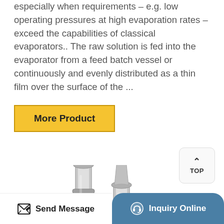especially when requirements – e.g. low operating pressures at high evaporation rates – exceed the capabilities of classical evaporators.. The raw solution is fed into the evaporator from a feed batch vessel or continuously and evenly distributed as a thin film over the surface of the ...
[Figure (other): Yellow 'More Product' button with dark border]
[Figure (other): TOP button with upward caret arrow, rounded rectangle, light grey background]
[Figure (photo): Photograph of a stainless steel falling film evaporator with vertical tubes, connectors, and coiled heat exchanger components visible]
[Figure (other): Bottom navigation bar with 'Send Message' on white left side and 'Inquiry Online' on dark teal right side with rounded top corners and icons]